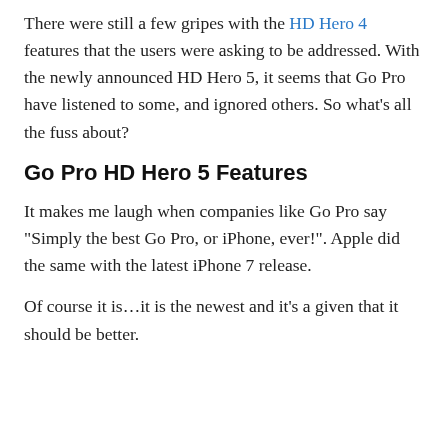There were still a few gripes with the HD Hero 4 features that the users were asking to be addressed. With the newly announced HD Hero 5, it seems that Go Pro have listened to some, and ignored others. So what's all the fuss about?
Go Pro HD Hero 5 Features
It makes me laugh when companies like Go Pro say "Simply the best Go Pro, or iPhone, ever!". Apple did the same with the latest iPhone 7 release.
Of course it is...it is the newest and it's a given that it should be better.